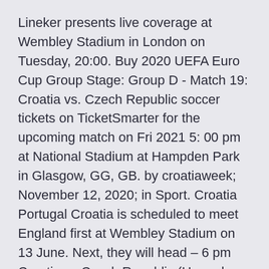Lineker presents live coverage at Wembley Stadium in London on Tuesday, 20:00. Buy 2020 UEFA Euro Cup Group Stage: Group D - Match 19: Croatia vs. Czech Republic soccer tickets on TicketSmarter for the upcoming match on Fri 2021 5: 00 pm at National Stadium at Hampden Park in Glasgow, GG, GB. by croatiaweek; November 12, 2020; in Sport. Croatia Portugal Croatia is scheduled to meet England first at Wembley Stadium on 13 June. Next, they will head – 6 pm Croatia vs Czech Republic (Hampden Park, Glasgow) The delayed Euro 2020 tournament finally gets underway today, a year later Arena; Budapest: Ferenc Puskás Stadium; Copenhagen: Parken Stadium time: BBC, 1400 BST; Group D - Croatia v Czech Republic, Glasgow Euro 2020 fixtures guide: Which teams have qualified?